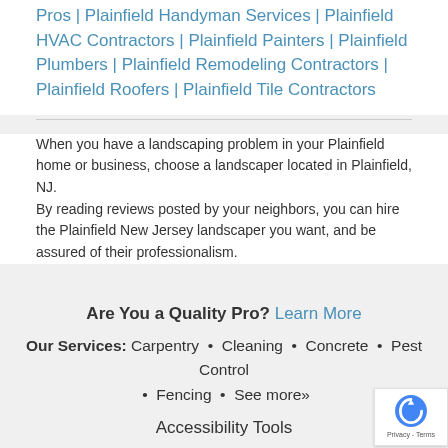Pros | Plainfield Handyman Services | Plainfield HVAC Contractors | Plainfield Painters | Plainfield Plumbers | Plainfield Remodeling Contractors | Plainfield Roofers | Plainfield Tile Contractors
When you have a landscaping problem in your Plainfield home or business, choose a landscaper located in Plainfield, NJ. By reading reviews posted by your neighbors, you can hire the Plainfield New Jersey landscaper you want, and be assured of their professionalism.
Are You a Quality Pro? Learn More
Our Services: Carpentry • Cleaning • Concrete • Pest Control • Fencing • See more»
Accessibility Tools